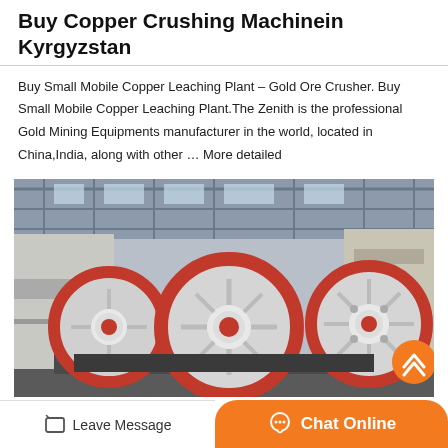Buy Copper Crushing Machinein Kyrgyzstan
Buy Small Mobile Copper Leaching Plant – Gold Ore Crusher. Buy Small Mobile Copper Leaching Plant.The Zenith is the professional Gold Mining Equipments manufacturer in the world, located in China,India, along with other … More detailed
[Figure (photo): Industrial copper crushing machines with large red and white flywheel wheels inside a factory/industrial facility with metal framework visible in background.]
Leave Message
Chat Online